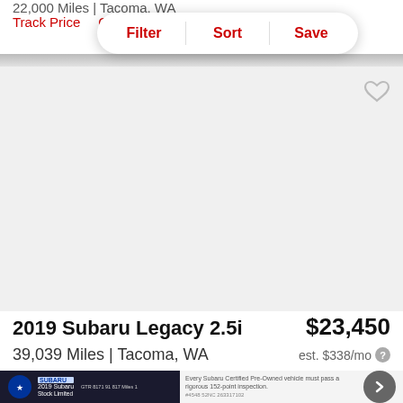22,000 Miles | Tacoma, WA
Track Price   Check
Filter | Sort | Save
[Figure (photo): Car listing image area (white/gray placeholder), with heart/favorite icon in top right]
2019 Subaru Legacy 2.5i
$23,450
39,039 Miles | Tacoma, WA
est. $338/mo
[Figure (screenshot): Bottom strip with Subaru certified pre-owned ad banner showing Subaru logo, car image, and text about 152-point inspection, with a right-arrow navigation button]